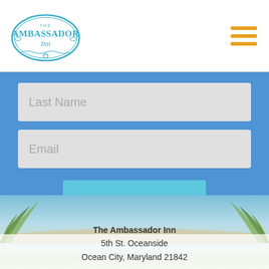[Figure (logo): The Ambassador Inn logo — oval shape with decorative scrollwork and text]
[Figure (illustration): Hamburger menu icon — three orange horizontal bars]
Last Name
Email
SUBMIT
[Figure (photo): Beach scene with palm fronds on left and right, ocean and sandy shore in background]
The Ambassador Inn
5th St. Oceanside
Ocean City, Maryland 21842
PHONE 410-289-6100
EMAIL info@theambassadorinn.com